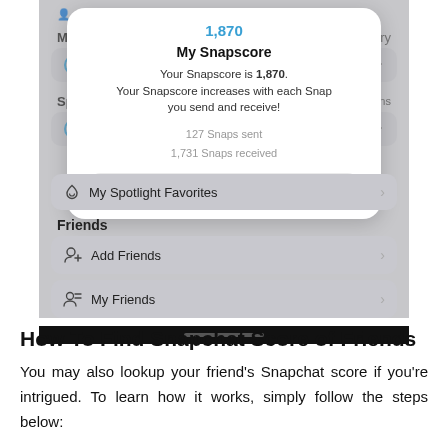[Figure (screenshot): Snapchat app screenshot showing a 'My Snapscore' modal dialog with score 1,870, stats showing 127 Snaps sent and 1,731 Snaps received, and a Close button. Below the modal are: My Spotlight Favorites row, Friends section with Add Friends and My Friends rows.]
How To Find Snapchat Score of Friends
You may also lookup your friend's Snapchat score if you're intrigued. To learn how it works, simply follow the steps below: